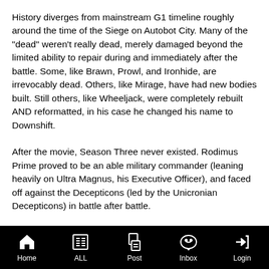History diverges from mainstream G1 timeline roughly around the time of the Siege on Autobot City. Many of the "dead" weren't really dead, merely damaged beyond the limited ability to repair during and immediately after the battle. Some, like Brawn, Prowl, and Ironhide, are irrevocably dead. Others, like Mirage, have had new bodies built. Still others, like Wheeljack, were completely rebuilt AND reformatted, in his case he changed his name to Downshift.
After the movie, Season Three never existed. Rodimus Prime proved to be an able military commander (leaning heavily on Ultra Magnus, his Executive Officer), and faced off against the Decepticons (led by the Unicronian Decepticons) in battle after battle.
When the planet Nebulon and its near-human inhabitants were discovered, the combination of Nebulon medical knowledge and…
Home  ALL  Post  Inbox  Login